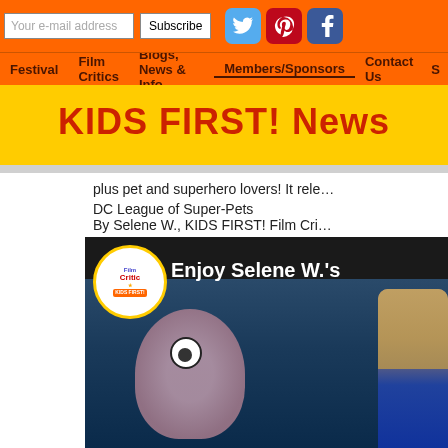Your e-mail address | Subscribe | [Twitter] [Pinterest] [Facebook]
Festival | Film Critics | Blogs, News & Info | Members/Sponsors | Contact Us | S...
KIDS FIRST! News
plus pet and superhero lovers! It rele...
DC League of Super-Pets
By Selene W., KIDS FIRST! Film Cri...
[Figure (screenshot): Video thumbnail showing KIDS FIRST! Film Critic badge with text 'Enjoy Selene W.'s' and an animated character from DC League of Super-Pets with a girl reviewer]